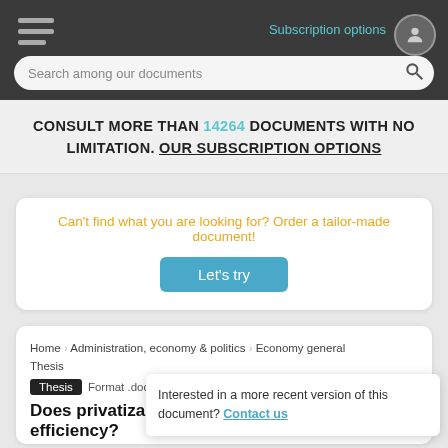Subscription options
Search among our documents
CONSULT MORE THAN 14264 DOCUMENTS WITH NO LIMITATION. OUR SUBSCRIPTION OPTIONS
Can't find what you are looking for? Order a tailor-made document!
Let's try
Home   Administration, economy & politics   Economy general   Thesis
Thesis   Format .doc
Does privatiza... efficiency?
Interested in a more recent version of this document? Contact us